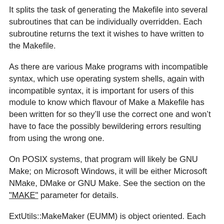It splits the task of generating the Makefile into several subroutines that can be individually overridden. Each subroutine returns the text it wishes to have written to the Makefile.
As there are various Make programs with incompatible syntax, which use operating system shells, again with incompatible syntax, it is important for users of this module to know which flavour of Make a Makefile has been written for so they’ll use the correct one and won’t have to face the possibly bewildering errors resulting from using the wrong one.
On POSIX systems, that program will likely be GNU Make; on Microsoft Windows, it will be either Microsoft NMake, DMake or GNU Make. See the section on the "MAKE" parameter for details.
ExtUtils::MakeMaker (EUMM) is object oriented. Each directory below the current directory that contains a Makefile.PL is treated as a separate object. This makes it possible to write an unlimited number of Makefiles with